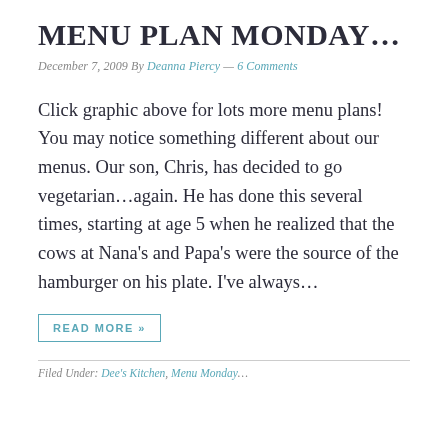MENU PLAN MONDAY…
December 7, 2009 By Deanna Piercy — 6 Comments
Click graphic above for lots more menu plans! You may notice something different about our menus. Our son, Chris, has decided to go vegetarian…again. He has done this several times, starting at age 5 when he realized that the cows at Nana's and Papa's were the source of the hamburger on his plate. I've always…
READ MORE »
Filed Under: Dee's Kitchen, Menu Monday…